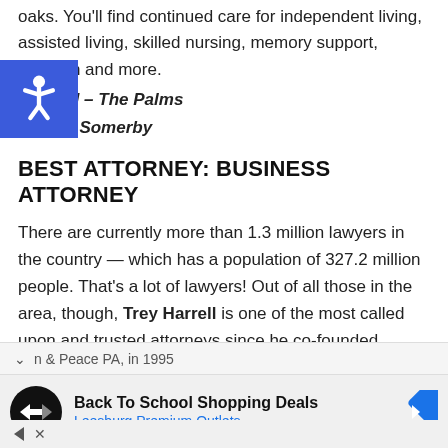oaks. You'll find continued care for independent living, assisted living, skilled nursing, memory support, bilitation and more.
Second – The Palms
Third – Somerby
BEST ATTORNEY: BUSINESS ATTORNEY
There are currently more than 1.3 million lawyers in the country — which has a population of 327.2 million people. That's a lot of lawyers! Out of all those in the area, though, Trey Harrell is one of the most called upon and trusted attorneys since he co-founded Harrell,
n & Peace PA, in 1995
Back To School Shopping Deals
Leesburg Premium Outlets